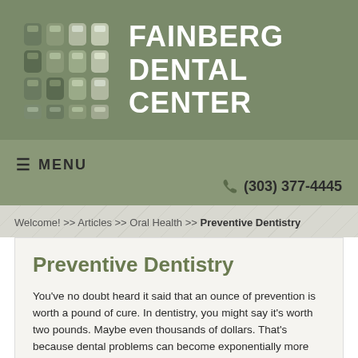[Figure (logo): Fainberg Dental Center logo with tooth icons grid and text]
≡ MENU   ☎ (303) 377-4445
Welcome! >> Articles >> Oral Health >> Preventive Dentistry
Preventive Dentistry
You've no doubt heard it said that an ounce of prevention is worth a pound of cure. In dentistry, you might say it's worth two pounds. Maybe even thousands of dollars. That's because dental problems can become exponentially more expensive — and painful – the longer they go unaddressed. Fortunately, modern dentistry has many easy